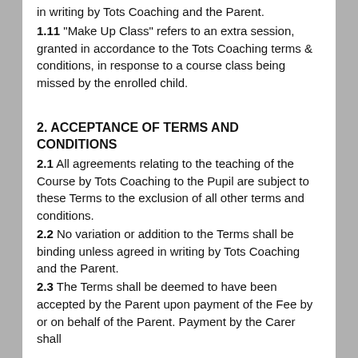in writing by Tots Coaching and the Parent.
1.11 “Make Up Class” refers to an extra session, granted in accordance to the Tots Coaching terms & conditions, in response to a course class being missed by the enrolled child.
2. ACCEPTANCE OF TERMS AND CONDITIONS
2.1 All agreements relating to the teaching of the Course by Tots Coaching to the Pupil are subject to these Terms to the exclusion of all other terms and conditions.
2.2 No variation or addition to the Terms shall be binding unless agreed in writing by Tots Coaching and the Parent.
2.3 The Terms shall be deemed to have been accepted by the Parent upon payment of the Fee by or on behalf of the Parent. Payment by the Carer shall be deemed to be on behalf of the Parent.